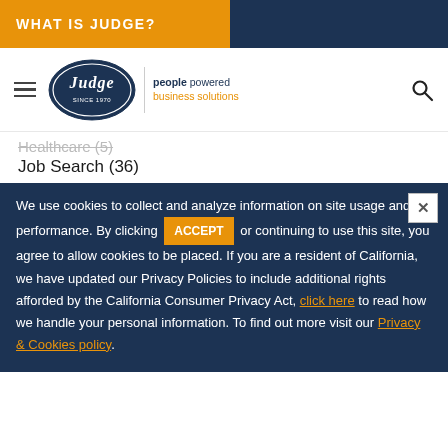WHAT IS JUDGE?
[Figure (logo): Judge logo — oval with 'Judge Since 1970' script, beside 'people powered business solutions' tagline]
Healthcare (5)
Job Search (36)
We use cookies to collect and analyze information on site usage and performance. By clicking ACCEPT or continuing to use this site, you agree to allow cookies to be placed. If you are a resident of California, we have updated our Privacy Policies to include additional rights afforded by the California Consumer Privacy Act, click here to read how we handle your personal information. To find out more visit our Privacy & Cookies policy.